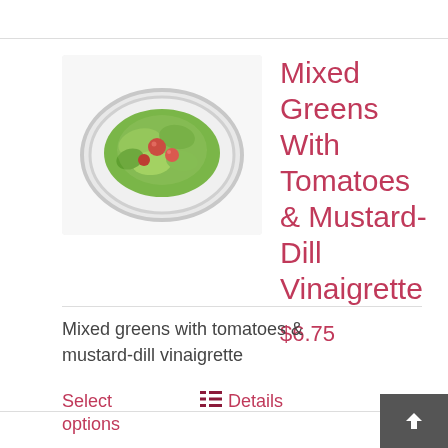[Figure (photo): A bowl of mixed greens salad with tomatoes on a white background]
Mixed Greens With Tomatoes & Mustard-Dill Vinaigrette
$6.75
Mixed greens with tomatoes & mustard-dill vinaigrette
Select options
Details